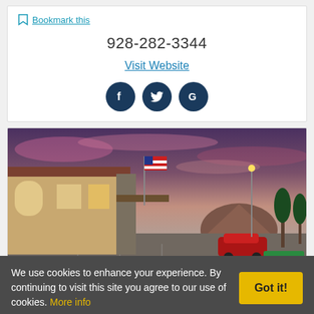Bookmark this
928-282-3344
Visit Website
[Figure (other): Social media icons: Facebook, Twitter, Google (dark navy circles with white logos)]
[Figure (photo): Exterior photo of a hotel (Best Western style) at dusk with American flag, red car in parking lot, mountains in background, purple/pink sunset sky]
We use cookies to enhance your experience. By continuing to visit this site you agree to our use of cookies. More info